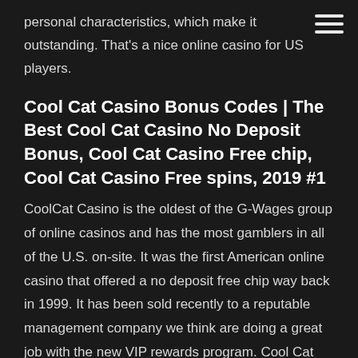personal characteristics, which make it outstanding. That's a nice online casino for US players.
Cool Cat Casino Bonus Codes | The Best Cool Cat Casino No Deposit Bonus, Cool Cat Casino Free chip, Cool Cat Casino Free spins, 2019 #1
CoolCat Casino is the oldest of the G-Wages group of online casinos and has the most gamblers in all of the U.S. on-site. It was the first American online casino that offered a no deposit free chip way back in 1999. It has been sold recently to a reputable management company we think are doing a great job with the new VIP rewards program. Cool Cat Casino no deposit bonus codes $25 no deposit bonus for Cool Cat Casino & Wild Vegas Casino Your bonus code: